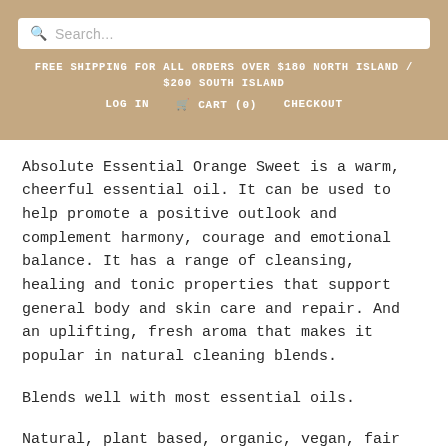FREE SHIPPING FOR ALL ORDERS OVER $180 NORTH ISLAND / $200 SOUTH ISLAND
LOG IN   CART (0)   CHECKOUT
Absolute Essential Orange Sweet is a warm, cheerful essential oil. It can be used to help promote a positive outlook and complement harmony, courage and emotional balance. It has a range of cleansing, healing and tonic properties that support general body and skin care and repair. And an uplifting, fresh aroma that makes it popular in natural cleaning blends.
Blends well with most essential oils.
Natural, plant based, organic, vegan, fair trade and cruelty